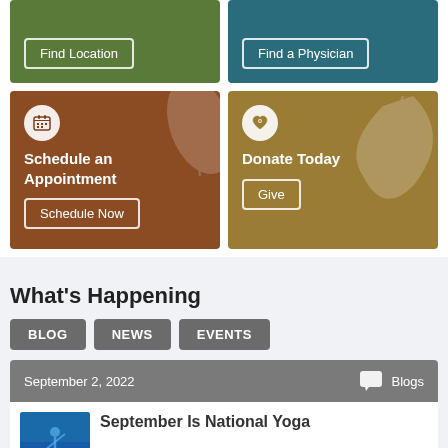[Figure (screenshot): Green card with Find Location button]
[Figure (screenshot): Teal card with Find a Physician button]
[Figure (screenshot): Brown card with calendar icon, Schedule an Appointment heading, Schedule Now button]
[Figure (screenshot): Gold card with heart/lock icon, Donate Today heading, Give button]
What's Happening
BLOG
NEWS
EVENTS
September 2, 2022
Blogs
September Is National Yoga